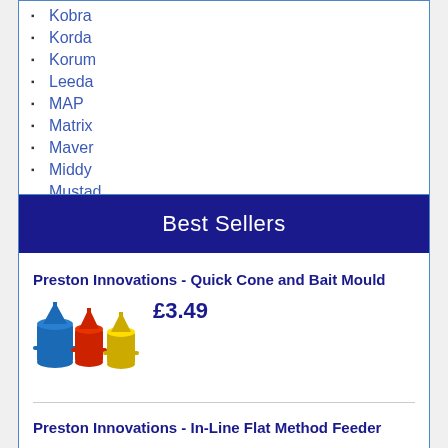Kobra
Korda
Korum
Leeda
MAP
Matrix
Maver
Middy
Mustad
Best Sellers
Preston Innovations - Quick Cone and Bait Mould
£3.49
[Figure (photo): Three fishing bait cone moulds in blue, red and yellow colours]
Preston Innovations - In-Line Flat Method Feeder
£1.99
[Figure (photo): Three dark grey method feeders of different sizes]